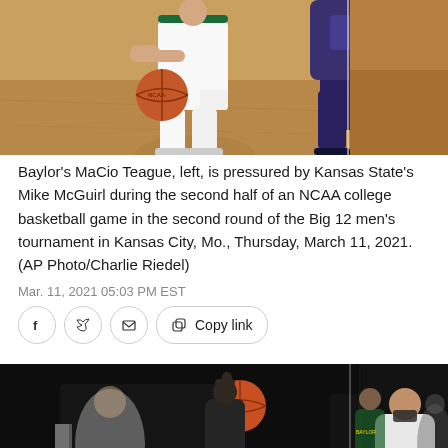[Figure (photo): Basketball photo showing players dribbling on court - Baylor vs Kansas State. Player in white on left dribbling basketball, player in dark uniform on right defending.]
Baylor's MaCio Teague, left, is pressured by Kansas State's Mike McGuirl during the second half of an NCAA college basketball game in the second round of the Big 12 men's tournament in Kansas City, Mo., Thursday, March 11, 2021. (AP Photo/Charlie Riedel)
Mar. 11, 2021 05:03 PM EST
[Figure (photo): Basketball photo showing player dunking ball through hoop in dark arena, with other players watching in background. Player wearing jersey number 3 visible on right.]